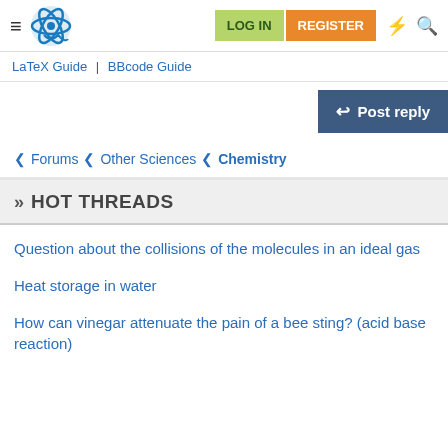LOG IN | REGISTER
LaTeX Guide | BBcode Guide
Post reply
Forums < Other Sciences < Chemistry
» HOT THREADS
Question about the collisions of the molecules in an ideal gas
Heat storage in water
How can vinegar attenuate the pain of a bee sting? (acid base reaction)